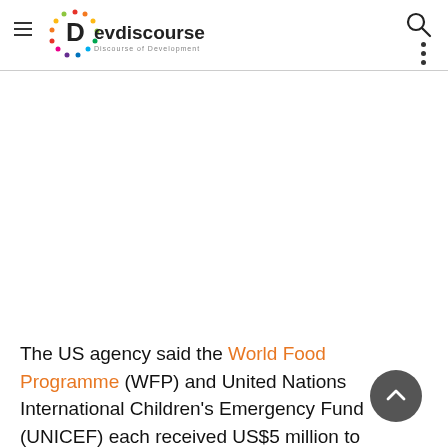Devdiscourse — Discourse of Development
[Figure (other): Advertisement / blank space area]
The US agency said the World Food Programme (WFP) and United Nations International Children's Emergency Fund (UNICEF) each received US$5 million to procure and distribute specialized